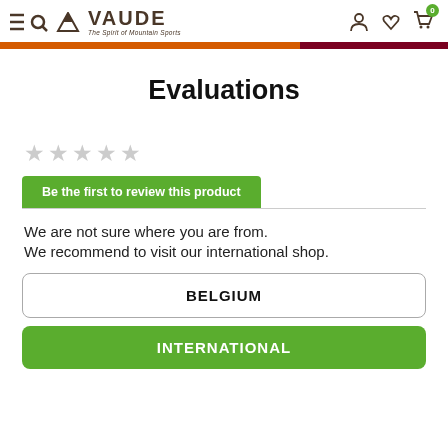VAUDE — The Spirit of Mountain Sports
Evaluations
Be the first to review this product
We are not sure where you are from.
We recommend to visit our international shop.
BELGIUM
INTERNATIONAL